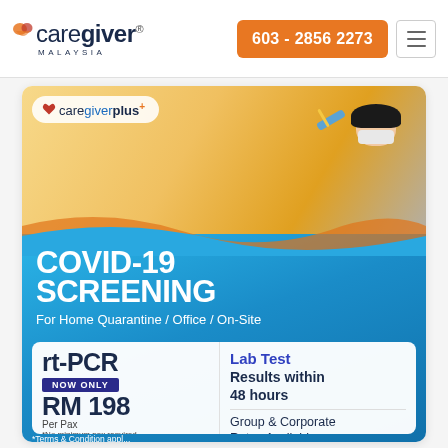caregiver MALAYSIA | 603 - 2856 2273
[Figure (infographic): CareGiverPlus COVID-19 Screening advertisement banner showing a woman receiving a nasal swab test. Contains logo, heading COVID-19 SCREENING, rt-PCR NOW ONLY RM 198 Per Pax, Lab Test Results within 48 hours, Group & Corporate Rates Available, *No minimum pax required]
*Terms & Condition appl...